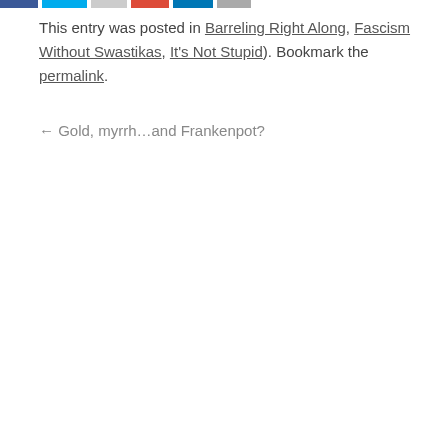This entry was posted in Barreling Right Along, Fascism Without Swastikas, [It's Not Stupid]. Bookmark the permalink.
← Gold, myrrh…and Frankenpot?